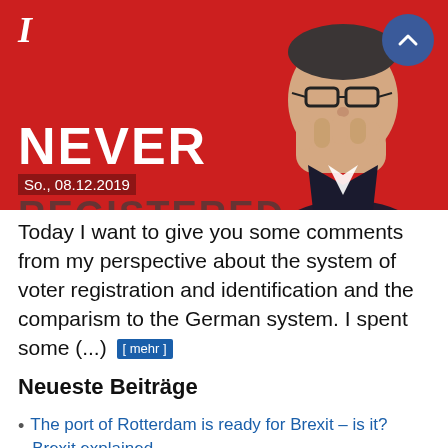[Figure (screenshot): News article banner image showing a man in glasses covering his mouth with his hand against a red background. Text overlay reads 'I NEVER' in large white bold letters and 'REGISTERED' partially visible at bottom. Date 'So., 08.12.2019' shown. A circular blue scroll-up button is visible top right.]
Today I want to give you some comments from my perspective about the system of voter registration and identification and the comparism to the German system. I spent some (...) [ mehr ]
Neueste Beiträge
The port of Rotterdam is ready for Brexit – is it? Brexit explained